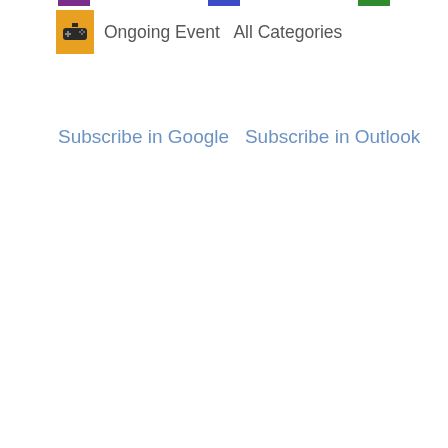[Figure (other): Color bars and a game controller icon with the label 'Ongoing Event  All Categories']
Subscribe in Google  Subscribe in Outlook